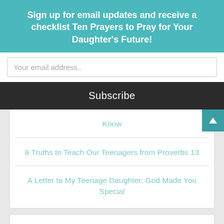Sign up for email updates and receive a checklist Ten Prayers to Pray for Your Daughter's Future!
Your email address..
Subscribe
Know
8 Truths to Teach Our Teenagers from Proverbs 13
A Letter to My Teenage Daughter: God Made You Special
Girls to Grow